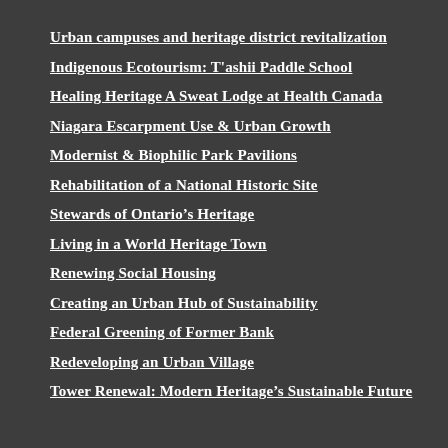Urban campuses and heritage district revitalization
Indigenous Ecotourism: T'ashii Paddle School
Healing Heritage A Sweat Lodge at Health Canada
Niagara Escarpment Use & Urban Growth
Modernist & Biophilic Park Pavilions
Rehabilitation of a National Historic Site
Stewards of Ontario's Heritage
Living in a World Heritage Town
Renewing Social Housing
Creating an Urban Hub of Sustainability
Federal Greening of Former Bank
Redeveloping an Urban Village
Tower Renewal: Modern Heritage's Sustainable Future